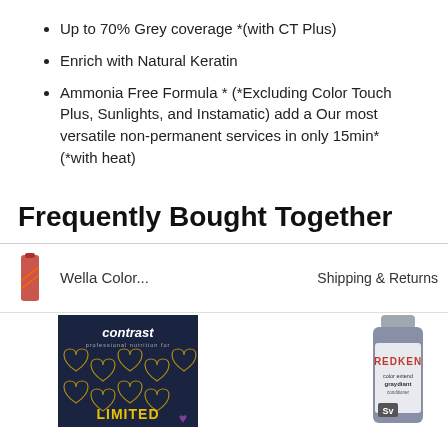Up to 70% Grey coverage *(with CT Plus)
Enrich with Natural Keratin
Ammonia Free Formula * (*Excluding Color Touch Plus, Sunlights, and Instamatic) add a Our most versatile non-permanent services in only 15min* (*with heat)
Frequently Bought Together
Wella Color...
Shipping & Returns
[Figure (photo): Product image showing contrast hair color packaging with gold hearts on dark background, LIMITED edition label, and a Redken color extend graydiant conditioner bottle (silver/blue)]